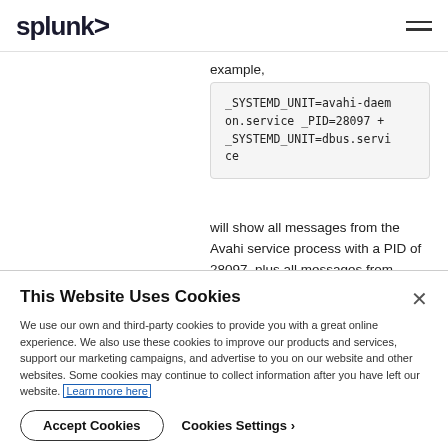splunk>
example,
_SYSTEMD_UNIT=avahi-daemon.service _PID=28097 + _SYSTEMD_UNIT=dbus.service
will show all messages from the Avahi service process with a PID of 28097, plus all messages from
This Website Uses Cookies
We use our own and third-party cookies to provide you with a great online experience. We also use these cookies to improve our products and services, support our marketing campaigns, and advertise to you on our website and other websites. Some cookies may continue to collect information after you have left our website. Learn more here
Accept Cookies
Cookies Settings ›